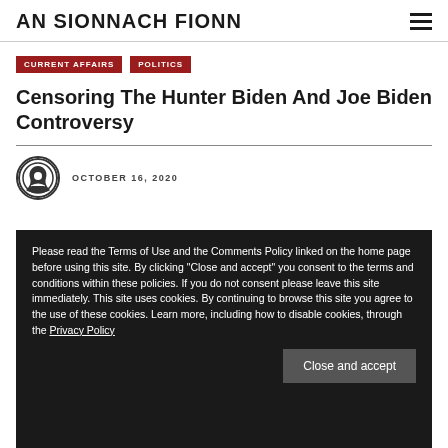AN SIONNACH FIONN
CURRENT AFFAIRS
POLITICS
Censoring The Hunter Biden And Joe Biden Controversy
OCTOBER 16, 2020
Please read the Terms of Use and the Comments Policy linked on the home page before using this site. By clicking "Close and accept" you consent to the terms and conditions within these policies. If you do not consent please leave this site immediately. This site uses cookies. By continuing to browse this site you agree to the use of these cookies. Learn more, including how to disable cookies, through the Privacy Policy
Close and accept